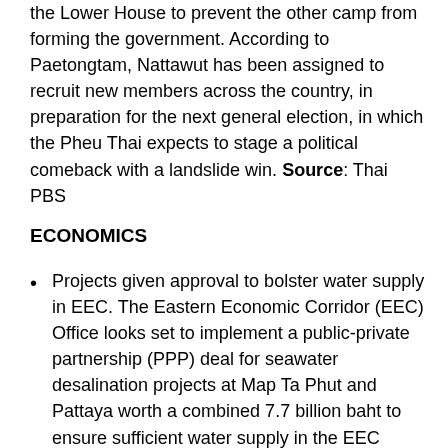the Lower House to prevent the other camp from forming the government. According to Paetongtam, Nattawut has been assigned to recruit new members across the country, in preparation for the next general election, in which the Pheu Thai expects to stage a political comeback with a landslide win. Source: Thai PBS
ECONOMICS
Projects given approval to bolster water supply in EEC. The Eastern Economic Corridor (EEC) Office looks set to implement a public-private partnership (PPP) deal for seawater desalination projects at Map Ta Phut and Pattaya worth a combined 7.7 billion baht to ensure sufficient water supply in the EEC areas. A meeting of EEC sub-committees on Wednesday, chaired by Deputy Prime Minister Supattanapong Punmeechaow, greenlighted the EEC Office to